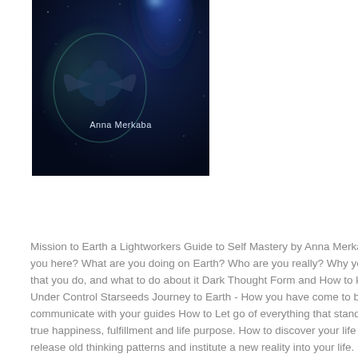[Figure (illustration): Book cover for 'Mission to Earth a Lightworkers Guide to Self Mastery' by Anna Merkaba. Dark space-themed background with blue nebula and a figure, with author name 'Anna Merkaba' displayed over the image.]
Mission to Earth a Lightworkers Guide to Self Mastery by Anna Merkaba Why are you here? What are you doing on Earth? Who are you really? Why you feel the way that you do, and what to do about it Dark Thought Form and How to keep them Under Control Starseeds Journey to Earth - How you have come to be here How to communicate with your guides How to Let go of everything that stands in your way to true happiness, fulfillment and life purpose. How to discover your life purpose How to release old thinking patterns and institute a new reality into your life. How to change your life and